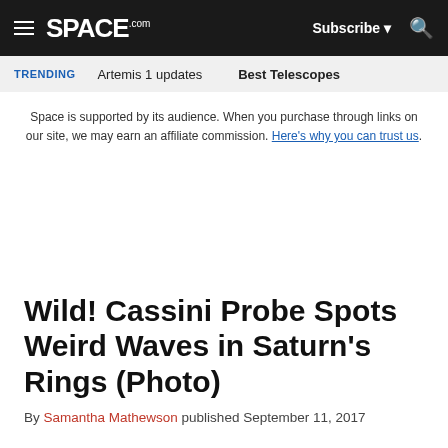SPACE.com — Subscribe | Search navigation bar
TRENDING   Artemis 1 updates   Best Telescopes
Space is supported by its audience. When you purchase through links on our site, we may earn an affiliate commission. Here's why you can trust us.
Wild! Cassini Probe Spots Weird Waves in Saturn's Rings (Photo)
By Samantha Mathewson published September 11, 2017